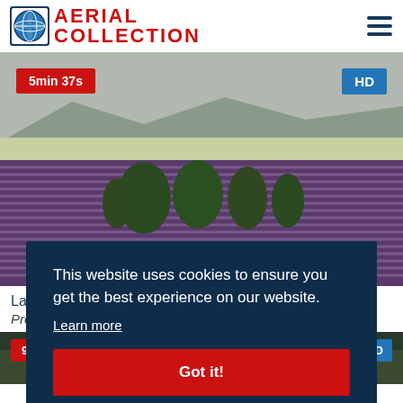[Figure (logo): Aerial Collection logo with globe icon and red text]
[Figure (photo): Aerial view of lavender fields in Provence with trees and mountains in background. Badge '5min 37s' top-left, 'HD' top-right.]
Lav
Pro
[Figure (photo): Second video thumbnail strip at bottom. Badge '9min 33s' top-left, 'HD' top-right.]
This website uses cookies to ensure you get the best experience on our website.
Learn more
Got it!